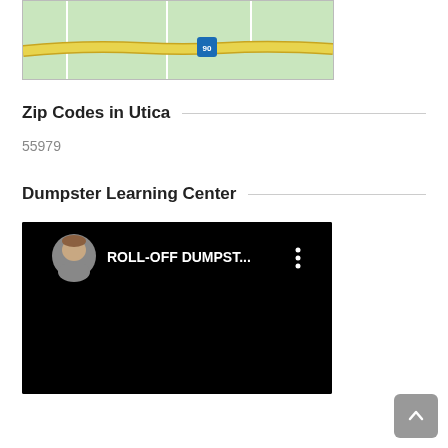[Figure (map): Partial map showing a road with Interstate 90 shield marker on a green background]
Zip Codes in Utica
55979
Dumpster Learning Center
[Figure (screenshot): Video thumbnail showing a dark/black screen with a user avatar and text 'ROLL-OFF DUMPST...' with a three-dot menu icon]